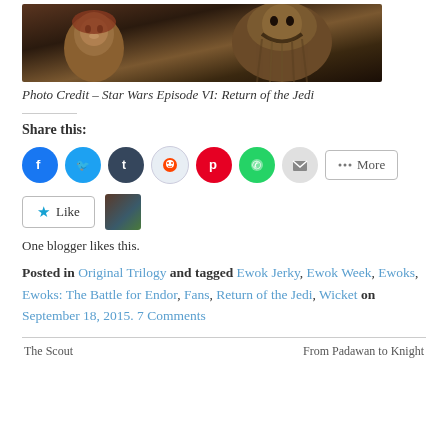[Figure (photo): Photo of an Ewok and Chewbacca from Star Wars Episode VI: Return of the Jedi]
Photo Credit – Star Wars Episode VI: Return of the Jedi
Share this:
[Figure (infographic): Social sharing buttons: Facebook, Twitter, Tumblr, Reddit, Pinterest, WhatsApp, Email, More]
[Figure (infographic): Like button with star icon and user avatar thumbnail]
One blogger likes this.
Posted in Original Trilogy and tagged Ewok Jerky, Ewok Week, Ewoks, Ewoks: The Battle for Endor, Fans, Return of the Jedi, Wicket on September 18, 2015. 7 Comments
← The Scout
From Padawan to Knight →